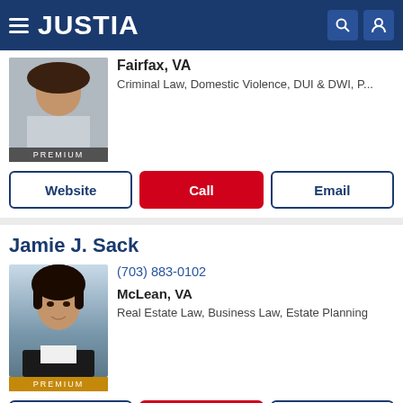JUSTIA
Fairfax, VA
Criminal Law, Domestic Violence, DUI & DWI, P...
Website | Call | Email
Jamie J. Sack
(703) 883-0102
McLean, VA
Real Estate Law, Business Law, Estate Planning
Website | Call | Email
Benjamin N. Griffitts
(888) 259-0787